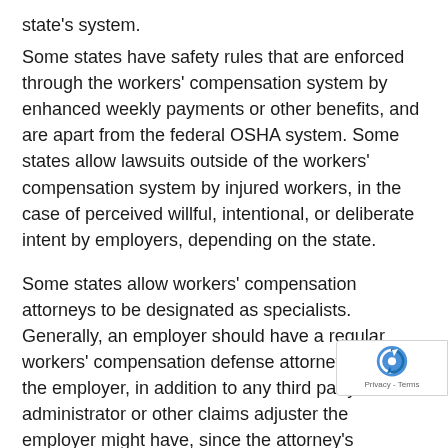state's system.
Some states have safety rules that are enforced through the workers' compensation system by enhanced weekly payments or other benefits, and are apart from the federal OSHA system. Some states allow lawsuits outside of the workers' compensation system by injured workers, in the case of perceived willful, intentional, or deliberate intent by employers, depending on the state.
Some states allow workers' compensation attorneys to be designated as specialists. Generally, an employer should have a regular workers' compensation defense attorney advising the employer, in addition to any third party administrator or other claims adjuster the employer might have, since the attorney's perspective is that of one who must uphold the employer's position at hearing or in some states, the defense attorney is not only paid by insurance company, but the insurance company is the actual